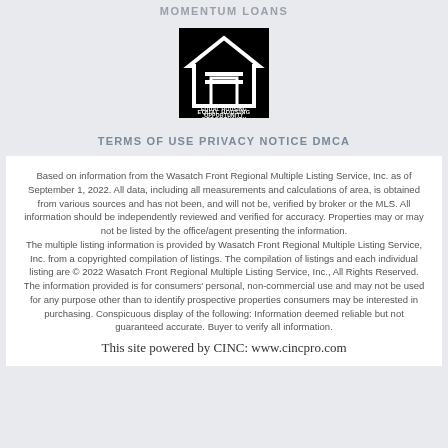MOMENTUM LOANS
[Figure (logo): Equal Housing Opportunity logo — black square with white house outline and equal sign, text 'EQUAL HOUSING OPPORTUNITY']
TERMS OF USE PRIVACY NOTICE DMCA
Based on information from the Wasatch Front Regional Multiple Listing Service, Inc. as of September 1, 2022. All data, including all measurements and calculations of area, is obtained from various sources and has not been, and will not be, verified by broker or the MLS. All information should be independently reviewed and verified for accuracy. Properties may or may not be listed by the office/agent presenting the information.
The multiple listing information is provided by Wasatch Front Regional Multiple Listing Service, Inc. from a copyrighted compilation of listings. The compilation of listings and each individual listing are © 2022 Wasatch Front Regional Multiple Listing Service, Inc., All Rights Reserved. The information provided is for consumers' personal, non-commercial use and may not be used for any purpose other than to identify prospective properties consumers may be interested in purchasing. Conspicuous display of the following: Information deemed reliable but not guaranteed accurate. Buyer to verify all information.
This site powered by CINC: www.cincpro.com